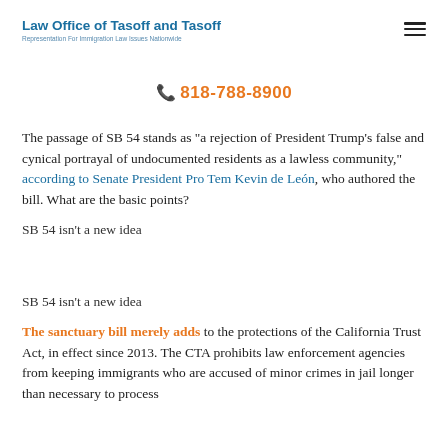Law Office of Tasoff and Tasoff
Representation For Immigration Law Issues Nationwide
📞 818-788-8900
The passage of SB 54 stands as "a rejection of President Trump's false and cynical portrayal of undocumented residents as a lawless community," according to Senate President Pro Tem Kevin de León, who authored the bill. What are the basic points?
SB 54 isn't a new idea
The sanctuary bill merely adds to the protections of the California Trust Act, in effect since 2013. The CTA prohibits law enforcement agencies from keeping immigrants who are accused of minor crimes in jail longer than necessary to process